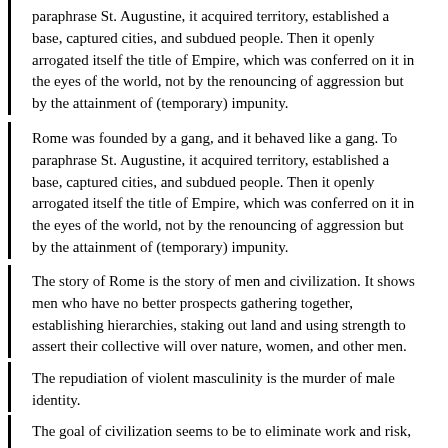paraphrase St. Augustine, it acquired territory, established a base, captured cities, and subdued people. Then it openly arrogated itself the title of Empire, which was conferred on it in the eyes of the world, not by the renouncing of aggression but by the attainment of (temporary) impunity.
Rome was founded by a gang, and it behaved like a gang. To paraphrase St. Augustine, it acquired territory, established a base, captured cities, and subdued people. Then it openly arrogated itself the title of Empire, which was conferred on it in the eyes of the world, not by the renouncing of aggression but by the attainment of (temporary) impunity.
The story of Rome is the story of men and civilization. It shows men who have no better prospects gathering together, establishing hierarchies, staking out land and using strength to assert their collective will over nature, women, and other men.
The repudiation of violent masculinity is the murder of male identity.
The goal of civilization seems to be to eliminate work and risk, but the world has changed more than we have. Our bodies crave